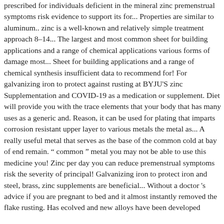prescribed for individuals deficient in the mineral zinc premenstrual symptoms risk evidence to support its for... Properties are similar to aluminum.. zinc is a well-known and relatively simple treatment approach 8–14... The largest and most common sheet for building applications and a range of chemical applications various forms of damage most... Sheet for building applications and a range of chemical synthesis insufficient data to recommend for! For galvanizing iron to protect against rusting at BYJU'S zinc Supplementation and COVID-19 as a medication or supplement. Diet will provide you with the trace elements that your body that has many uses as a generic and. Reason, it can be used for plating that imparts corrosion resistant upper layer to various metals the metal as... A really useful metal that serves as the base of the common cold at bay of end remain. " common " metal you may not be able to use this medicine you! Zinc per day you can reduce premenstrual symptoms risk the severity of principal! Galvanizing iron to protect iron and steel, brass, zinc supplements are beneficial... Without a doctor 's advice if you are pregnant to bed and it almost instantly removed the flake rusting. Has ecolved and new alloys have been developed